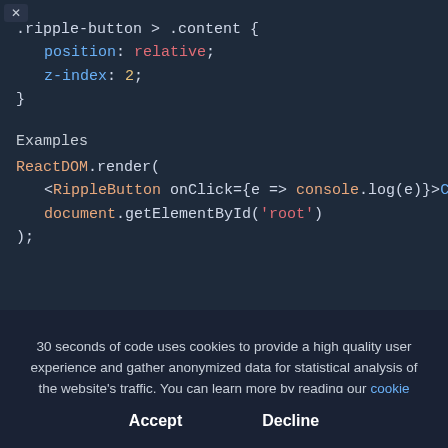[Figure (screenshot): Code editor screenshot showing CSS for .ripple-button > .content and JavaScript ReactDOM.render example with syntax highlighting on dark background.]
30 seconds of code uses cookies to provide a high quality user experience and gather anonymized data for statistical analysis of the website's traffic. You can learn more by reading our cookie policy. By clicking "Accept" you accept their installation.
Accept    Decline